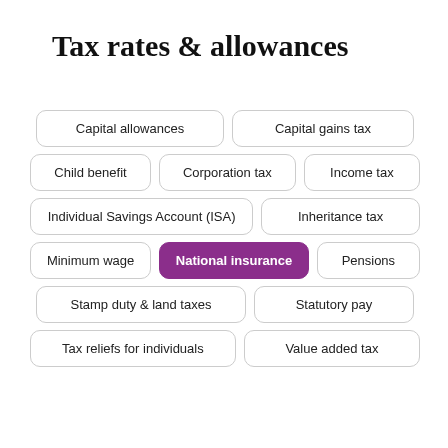Tax rates & allowances
Capital allowances
Capital gains tax
Child benefit
Corporation tax
Income tax
Individual Savings Account (ISA)
Inheritance tax
Minimum wage
National insurance
Pensions
Stamp duty & land taxes
Statutory pay
Tax reliefs for individuals
Value added tax